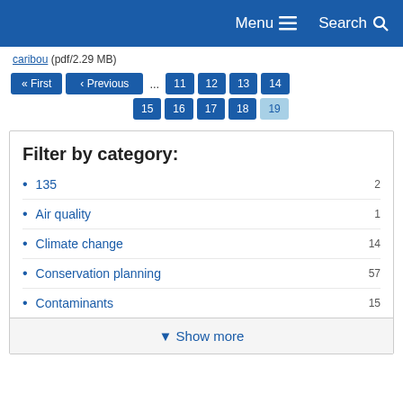Menu  Search
caribou (pdf/2.29 MB)
« First  ‹ Previous  ...  11  12  13  14  15  16  17  18  19
Filter by category:
135  2
Air quality  1
Climate change  14
Conservation planning  57
Contaminants  15
▼ Show more